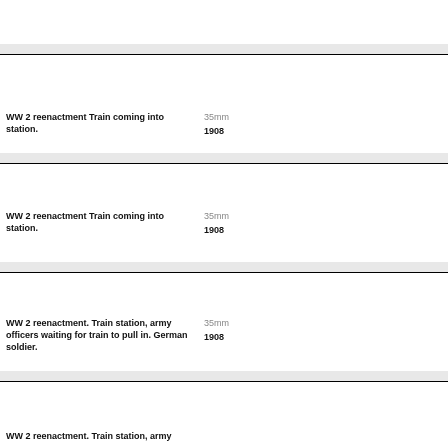WW 2 reenactment Train coming into station.
35mm
1908
WW 2 reenactment Train coming into station.
35mm
1908
WW 2 reenactment. Train station, army officers waiting for train to pull in. German soldier.
35mm
1908
WW 2 reenactment. Train station, army